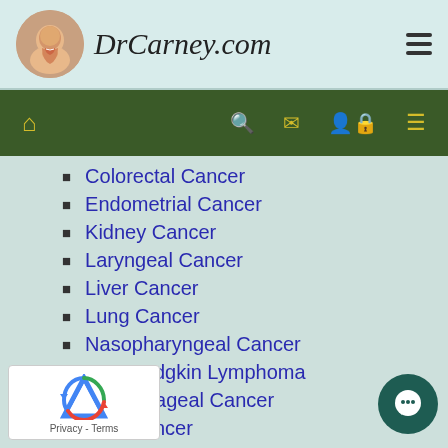DrCarney.com
Colorectal Cancer
Endometrial Cancer
Kidney Cancer
Laryngeal Cancer
Liver Cancer
Lung Cancer
Nasopharyngeal Cancer
Non-Hodgkin Lymphoma
Oesophageal Cancer
Oral Cancer
Ovarian Cancer
Pancreatic Cancer
Prostate Cancer
Skin Cancer
Stomach Cancer